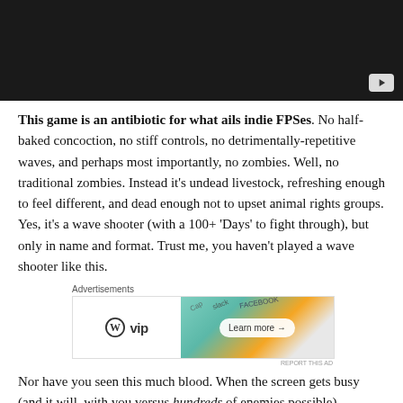[Figure (screenshot): Dark video player thumbnail with YouTube play button in bottom right corner]
This game is an antibiotic for what ails indie FPSes. No half-baked concoction, no stiff controls, no detrimentally-repetitive waves, and perhaps most importantly, no zombies. Well, no traditional zombies. Instead it's undead livestock, refreshing enough to feel different, and dead enough not to upset animal rights groups. Yes, it's a wave shooter (with a 100+ 'Days' to fight through), but only in name and format. Trust me, you haven't played a wave shooter like this.
[Figure (screenshot): WordPress VIP advertisement banner with Learn more button]
Nor have you seen this much blood. When the screen gets busy (and it will, with you versus hundreds of enemies possible)